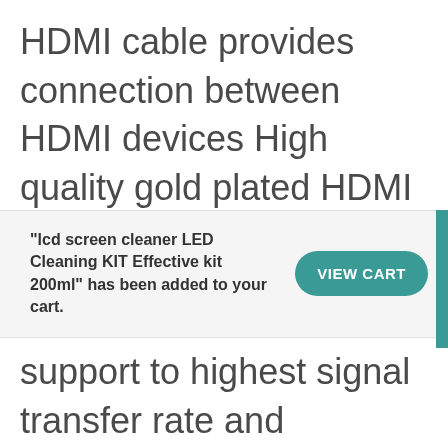HDMI cable provides connection between HDMI devices High quality gold plated HDMI male to male cable You can use
"lcd screen cleaner LED Cleaning KIT Effective kit 200ml" has been added to your cart.
VIEW CART
support to highest signal transfer rate and anticorrosion. This cable supports upto 1080P resolution with 120 refresh rate and manufacture with high quality material. This item can be use longer period of time without any problem. According to your requirement You can buy 1.5m upto